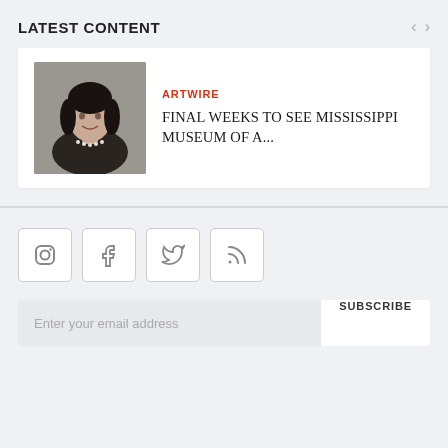LATEST CONTENT
[Figure (photo): Portrait photo of a woman with dark hair, wearing a black top and pearl necklace, against a grey background]
ARTWIRE
FINAL WEEKS TO SEE MISSISSIPPI MUSEUM OF A...
[Figure (infographic): Social media icon buttons: Instagram, Facebook, Twitter, RSS feed]
Enter your email address
SUBSCRIBE